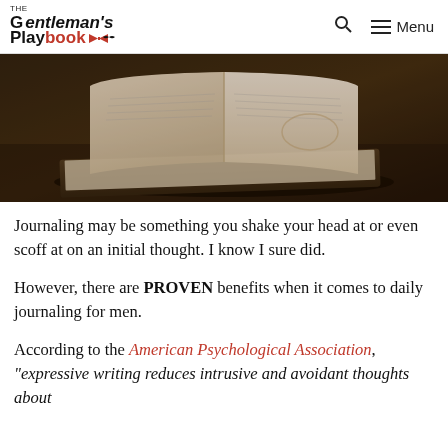The Gentleman's Playbook [logo] Q ☰ Menu
[Figure (photo): Photo of an open book resting on top of another closed book on a dark table, moody warm-toned lighting]
Journaling may be something you shake your head at or even scoff at on an initial thought. I know I sure did.
However, there are PROVEN benefits when it comes to daily journaling for men.
According to the American Psychological Association, "expressive writing reduces intrusive and avoidant thoughts about"